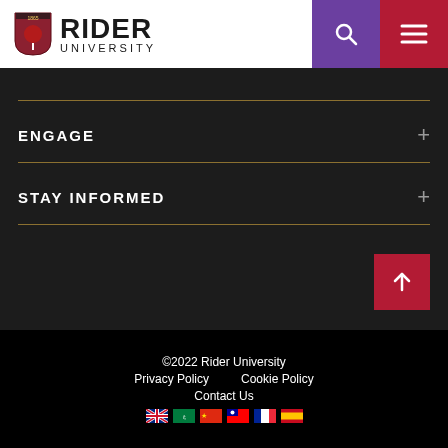[Figure (logo): Rider University logo with shield crest dated 1865, red tree icon, and text RIDER UNIVERSITY]
[Figure (screenshot): Purple search icon button and dark red hamburger menu button in header]
ENGAGE
STAY INFORMED
[Figure (other): Red back-to-top button with upward arrow]
©2022 Rider University
Privacy Policy   Cookie Policy
Contact Us
[flag icons: UK, Arabic, Chinese, Taiwanese, French, Spanish]